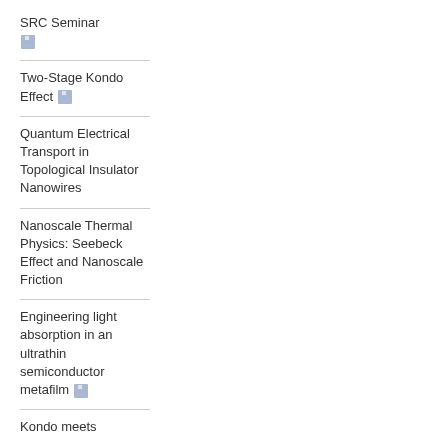SRC Seminar
Two-Stage Kondo Effect
Quantum Electrical Transport in Topological Insulator Nanowires
Nanoscale Thermal Physics: Seebeck Effect and Nanoscale Friction
Engineering light absorption in an ultrathin semiconductor metafilm
Kondo meets